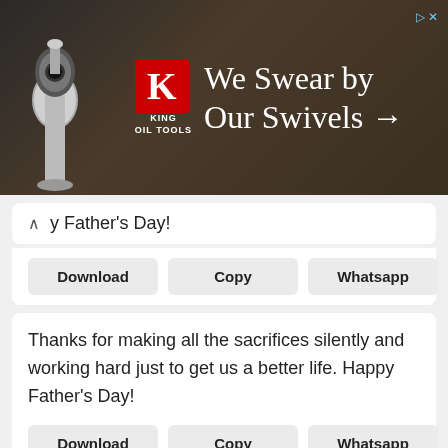[Figure (screenshot): Advertisement banner for King Oil Tools - 'We Swear by Our Swivels' with red K logo and microphone image on dark background]
Happy Father's Day!
Thanks for making all the sacrifices silently and working hard just to get us a better life. Happy Father's Day!
Thanks for all the wonderful things you do that might not always be noticed. Happy Father's Day!